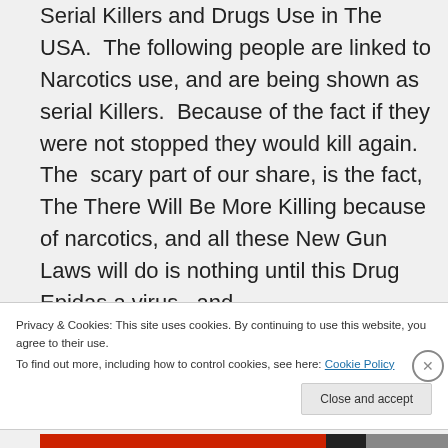Serial Killers and Drugs Use in The USA. The following people are linked to Narcotics use, and are being shown as serial Killers. Because of the fact if they were not stopped they would kill again. The scary part of our share, is the fact, The There Will Be More Killing because of narcotics, and all these New Gun Laws will do is nothing until this Drug Epidas a virus., and
Privacy & Cookies: This site uses cookies. By continuing to use this website, you agree to their use. To find out more, including how to control cookies, see here: Cookie Policy
Close and accept